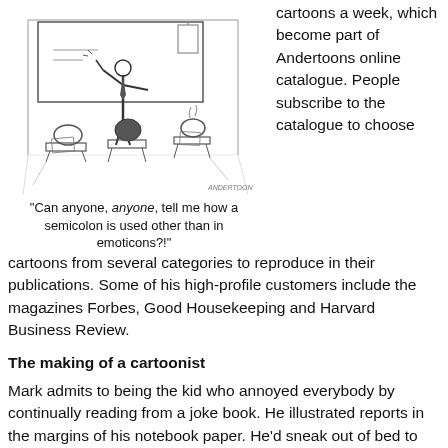[Figure (illustration): Cartoon of a teacher standing at a whiteboard/chalkboard in a classroom with students seated, gesturing energetically. The cartoon is signed 'ANDERTOON' at bottom right.]
"Can anyone, anyone, tell me how a semicolon is used other than in emoticons?!"
cartoons a week, which become part of Andertoons online catalogue. People subscribe to the catalogue to choose
cartoons from several categories to reproduce in their publications. Some of his high-profile customers include the magazines Forbes, Good Housekeeping and Harvard Business Review.
The making of a cartoonist
Mark admits to being the kid who annoyed everybody by continually reading from a joke book. He illustrated reports in the margins of his notebook paper. He'd sneak out of bed to watch comedians on late-night TV, especially “word genius” George Carlin. From a young age he delighted in dissecting what makes a joke funny.